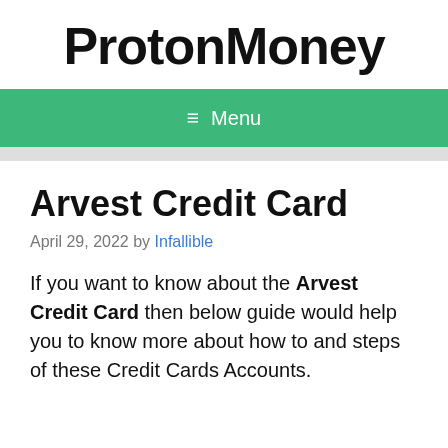ProtonMoney
≡ Menu
Arvest Credit Card
April 29, 2022 by Infallible
If you want to know about the Arvest Credit Card then below guide would help you to know more about how to and steps of these Credit Cards Accounts.